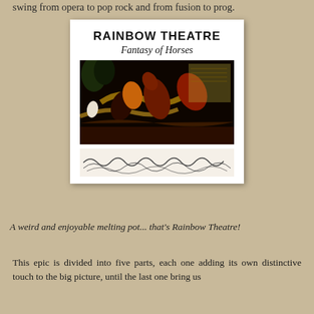swing from opera to pop rock and from fusion to prog.
[Figure (photo): Album cover for Rainbow Theatre - Fantasy of Horses. White background with bold black text 'RAINBOW THEATRE' at top, italic script 'Fantasy of Horses' below, followed by a colorful painting of horses in motion, and decorative horse silhouette border at bottom.]
A weird and enjoyable melting pot... that's Rainbow Theatre!
This epic is divided into five parts, each one adding its own distinctive touch to the big picture, until the last one bring us all back into the Groats of the Crimson King. Keith Hale...